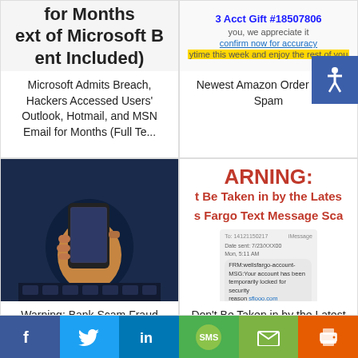[Figure (screenshot): Cropped screenshot showing bold text lines: 'for Months', 'ext of Microsoft B', 'ent Included)']
Microsoft Admits Breach, Hackers Accessed Users' Outlook, Hotmail, and MSN Email for Months (Full Te...
[Figure (screenshot): Screenshot of an email: '3 Acct Gift #18507806', 'you, we appreciate it', 'confirm now for accuracy', 'ytime this week and enjoy the rest of you']
Newest Amazon Order Scam Spam
[Figure (photo): Photo of a hand holding a smartphone over a dark keyboard background]
Warning: Bank Scam Fraud Spoofs Bank's Phone Number in Caller I.D. Bilking People out of Thousands
[Figure (screenshot): Screenshot with red text 'ARNING:' and 't Be Taken in by the Lates', 's Fargo Text Message Sca', with a simulated SMS bubble from Wells Fargo about account temporarily locked]
Don't Be Taken in by the Latest Wells Fargo Text Message Scam!
[Figure (infographic): Social share bar with Facebook, Twitter, LinkedIn, SMS, Mail, and Print buttons]